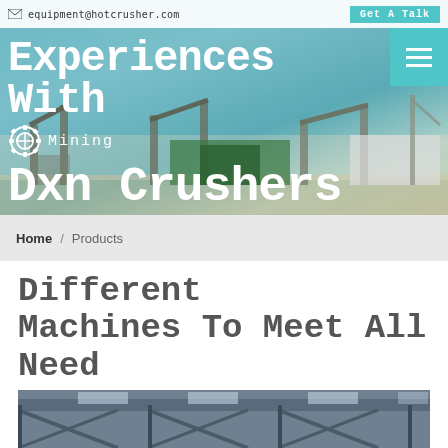equipment@hotcrusher.com | Get A Talk
[Figure (photo): Industrial mining crusher facility with conveyor belts and machinery against a blue sky]
Experiences With Mining Dxn Crushers
Home / Products
Different Machines To Meet All Need
[Figure (photo): Interior of an industrial warehouse/factory with steel roof structure and skylights]